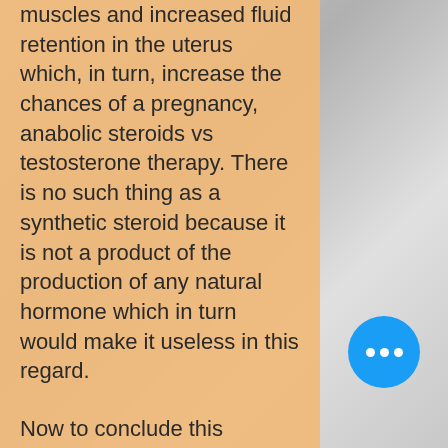muscles and increased fluid retention in the uterus which, in turn, increase the chances of a pregnancy, anabolic steroids vs testosterone therapy. There is no such thing as a synthetic steroid because it is not a product of the production of any natural hormone which in turn would make it useless in this regard.
Now to conclude this chapter on The Effects Of Steroids In Sports, best protein powder while on steroids. There are those that argue that it is not really effective in this regard, that steroid use is actually harmful if you have high testosterone level. As you can already guessed, I am not one of these people.
The effect of steroids on performance is far more complicated than just its effect on testosterone and T levels but that is another chapter altogether, anabolic steroids vs
[Figure (other): Blue circular chat button with three white dots (ellipsis) in the lower right area]